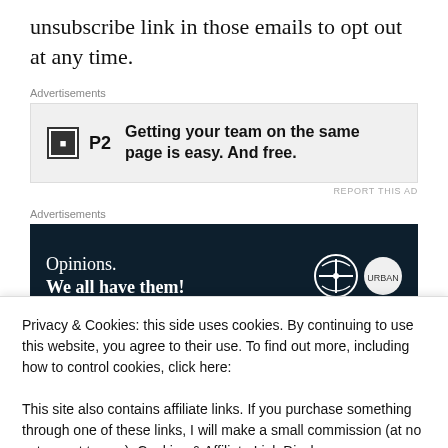unsubscribe link in those emails to opt out at any time.
Advertisements
[Figure (other): P2 advertisement: Getting your team on the same page is easy. And free.]
Advertisements
[Figure (other): Opinions. We all have them! WordPress advertisement banner.]
Privacy & Cookies: this side uses cookies. By continuing to use this website, you agree to their use. To find out more, including how to control cookies, click here:

This site also contains affiliate links. If you purchase something through one of these links, I will make a small commission (at no extra cost to you). Cookies & Affiliate Link Disclosure
Close and accept